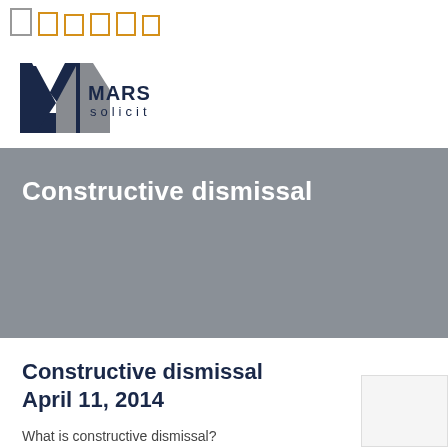[Figure (logo): Marsons Solicitors logo with stylized M in navy blue and grey, company name in navy blue capitals]
Constructive dismissal
Constructive dismissal
April 11, 2014
What is constructive dismissal?